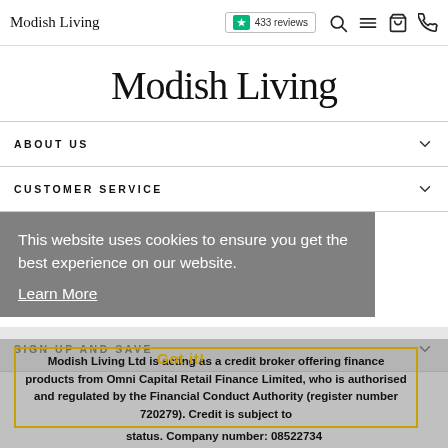Modish Living | 433 reviews
Modish Living
ABOUT US
CUSTOMER SERVICE
SIGN UP AND SAVE
This website uses cookies to ensure you get the best experience on our website. Learn More
Got it!
Modish Living Ltd is acting as a credit broker offering finance products from Omni Capital Retail Finance Limited, who is authorised and regulated by the Financial Conduct Authority (register number 720279). Credit is subject to status. Company number: 08522734